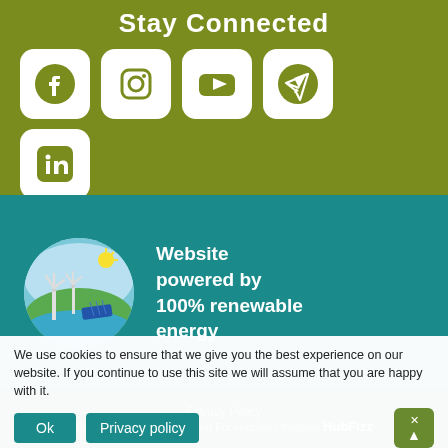Stay Connected
[Figure (illustration): Social media icons: Facebook, Instagram, YouTube, Telegram, LinkedIn — white rounded square icons on olive green background]
[Figure (illustration): Circular illustration of wind turbines and solar panels representing 100% renewable energy]
Website powered by 100% renewable energy
Privacy Policy
We use cookies to ensure that we give you the best experience on our website. If you continue to use this site we will assume that you are happy with it.
Copyright © 2021 Marketing For Hippies | Website
HubFizz
Ok
Privacy policy